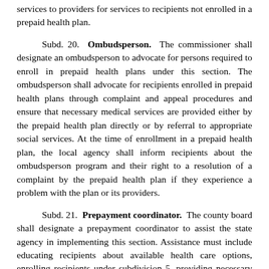services to providers for services to recipients not enrolled in a prepaid health plan.
Subd. 20. Ombudsperson. The commissioner shall designate an ombudsperson to advocate for persons required to enroll in prepaid health plans under this section. The ombudsperson shall advocate for recipients enrolled in prepaid health plans through complaint and appeal procedures and ensure that necessary medical services are provided either by the prepaid health plan directly or by referral to appropriate social services. At the time of enrollment in a prepaid health plan, the local agency shall inform recipients about the ombudsperson program and their right to a resolution of a complaint by the prepaid health plan if they experience a problem with the plan or its providers.
Subd. 21. Prepayment coordinator. The county board shall designate a prepayment coordinator to assist the state agency in implementing this section. Assistance must include educating recipients about available health care options, enrolling recipients under subdivision 5, providing necessary eligibility and enrollment information to health plans and the state agency, and coordinating complaints and appeals with